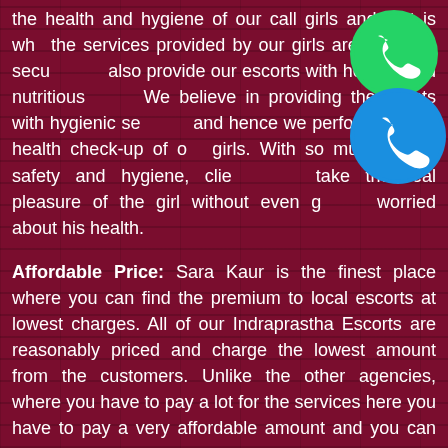the health and hygiene of our call girls and that is why the services provided by our girls are safe and secure. We also provide our escorts with healthy and nutritious food. We believe in providing the clients with hygienic services and hence we perform regular health check-up of our girls. With so much of the safety and hygiene, clients can take the real pleasure of the girl without even getting worried about his health.
[Figure (illustration): WhatsApp logo icon (green circle with white phone handset)]
[Figure (illustration): Phone call icon (blue circle with white phone handset)]
Affordable Price: Sara Kaur is the finest place where you can find the premium to local escorts at lowest charges. All of our Indraprastha Escorts are reasonably priced and charge the lowest amount from the customers. Unlike the other agencies, where you have to pay a lot for the services here you have to pay a very affordable amount and you can enjoy everything with the girls. You can book the girl depending upon your budget and she will give you the pleasure you have been searching for.
Services: We are serving erotic sexual enjoyment with seductive girls. All of our girls are highly trained when it comes to serving clients with intimacy and sexual pleasure. These beauties know many moves and poses to